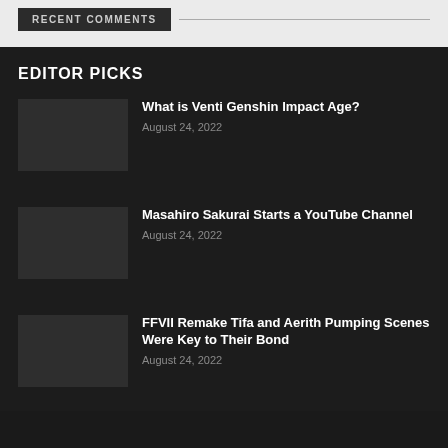RECENT COMMENTS
EDITOR PICKS
What is Venti Genshin Impact Age?
August 24, 2022
Masahiro Sakurai Starts a YouTube Channel
August 24, 2022
FFVII Remake Tifa and Aerith Pumping Scenes Were Key to Their Bond
August 24, 2022